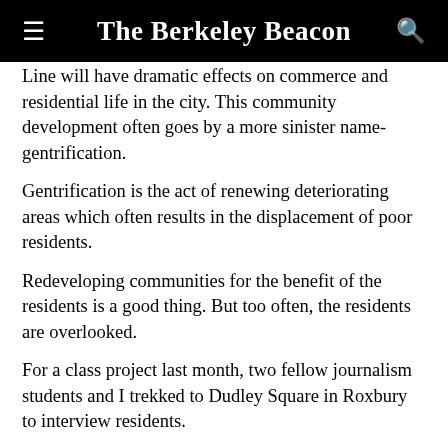The Berkeley Beacon
Line will have dramatic effects on commerce and residential life in the city. This community development often goes by a more sinister name-gentrification.
Gentrification is the act of renewing deteriorating areas which often results in the displacement of poor residents.
Redeveloping communities for the benefit of the residents is a good thing. But too often, the residents are overlooked.
For a class project last month, two fellow journalism students and I trekked to Dudley Square in Roxbury to interview residents.
We hopped on the Silver Line, which runs down the artery of redevelopment, Washington Street. It doesn't look like Dubai, but speckled here and there are construction and renovation projects as evidence that something is happening.